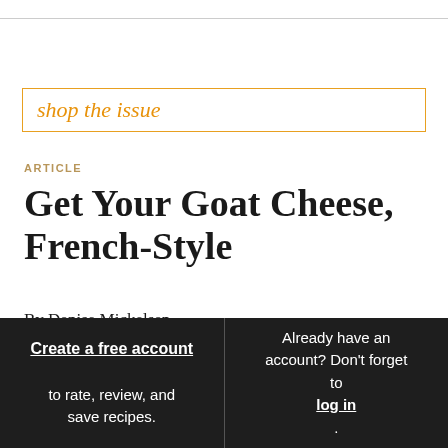shop the issue
ARTICLE
Get Your Goat Cheese, French-Style
By Denise Mickelsen
Create a free account to rate, review, and save recipes.
Already have an account? Don't forget to log in.